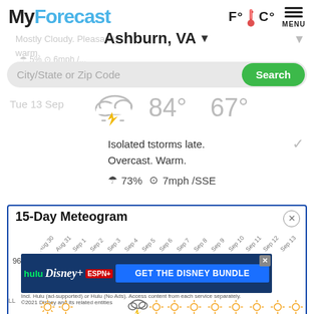MyForecast
F° C° MENU
Mostly Cloudy. Pleasantly warm.
Ashburn, VA ▼
5% 6mph /...
City/State or Zip Code
Search
Tue 13 Sep
84° 67°
Isolated tstorms late. Overcast. Warm.
☂ 73% ⊙ 7mph /SSE
15-Day Meteogram
[Figure (other): Meteogram date axis with dates Aug 30, Aug 31, Sep 1, Sep 2, Sep 3, Sep 4, Sep 5, Sep 6, Sep 7, Sep 8, Sep 9, Sep 10, Sep 11, Sep 12, Sep 13 and temperature label 96°. Contains an advertisement banner for Disney Bundle (Hulu, Disney+, ESPN+) and weather icon illustrations at the bottom.]